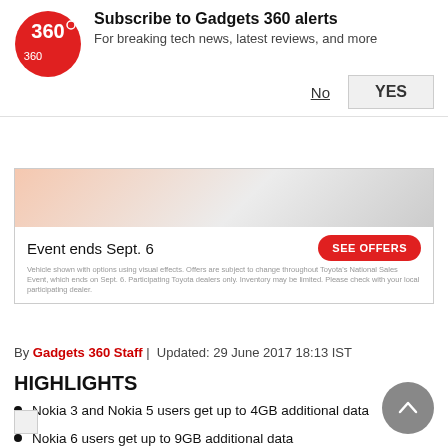Subscribe to Gadgets 360 alerts
For breaking tech news, latest reviews, and more
[Figure (photo): Toyota National Sales Event advertisement showing cars, with 'Event ends Sept. 6' text and 'SEE OFFERS' red button and small disclaimer text.]
By Gadgets 360 Staff | Updated: 29 June 2017 18:13 IST
HIGHLIGHTS
Nokia 3 and Nokia 5 users get up to 4GB additional data
Nokia 6 users get up to 9GB additional data
The offers are available for both prepaid and postpaid subscribers